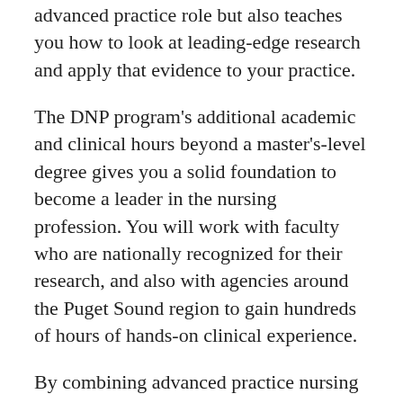advanced practice role but also teaches you how to look at leading-edge research and apply that evidence to your practice.
The DNP program's additional academic and clinical hours beyond a master's-level degree gives you a solid foundation to become a leader in the nursing profession. You will work with faculty who are nationally recognized for their research, and also with agencies around the Puget Sound region to gain hundreds of hours of hands-on clinical experience.
By combining advanced practice nursing skills and knowledge of how to evaluate evidence-based research, you are empowered to become a more